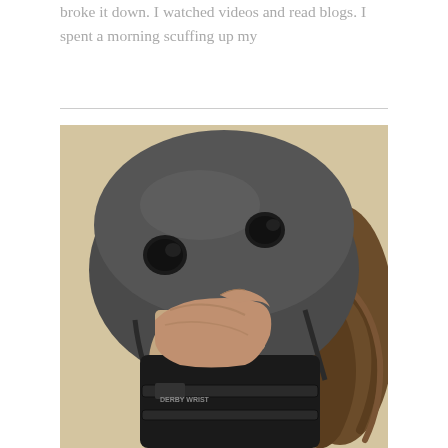broke it down. I watched videos and read blogs. I spent a morning scuffing up my
[Figure (photo): A person wearing a dark grey/black skateboarding or roller derby helmet with two ventilation holes visible, and black wrist guard protective gear. The person's face is partially covered by their hand which is wearing the wrist guard. Long wavy brown hair is visible. The helmet chin strap is visible. Background is a warm beige/cream color.]